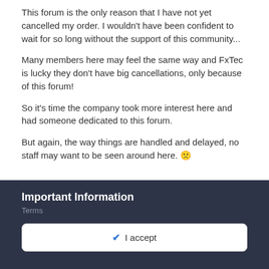This forum is the only reason that I have not yet cancelled my order. I wouldn't have been confident to wait for so long without the support of this community...
Many members here may feel the same way and FxTec is lucky they don't have big cancellations, only because of this forum!
So it's time the company took more interest here and had someone dedicated to this forum.
But again, the way things are handled and delayed, no staff may want to be seen around here. 🙁
+ Quote   ❤ 2   🏆 3
Important Information
Terms
✔ I accept